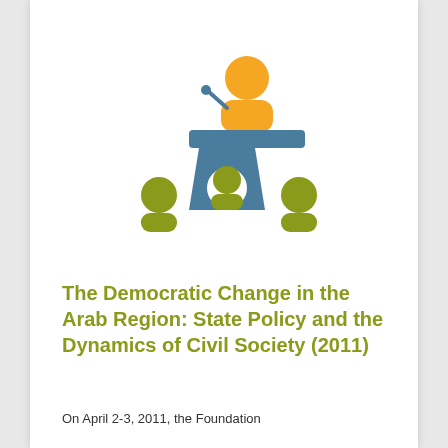[Figure (illustration): Icon illustration of a speaker at a podium/lectern (orange figure with blue podium) with three olive-green audience member figures seated below]
The Democratic Change in the Arab Region: State Policy and the Dynamics of Civil Society (2011)
On April 2-3, 2011, the Foundation